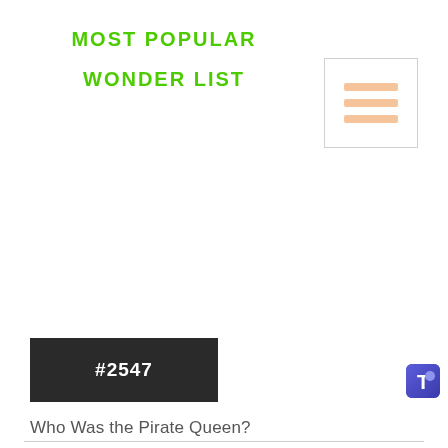MOST POPULAR
WONDER LIST
[Figure (illustration): Menu hamburger icon box with three horizontal orange/peach lines inside a light bordered rectangle]
#2547
Who Was the Pirate Queen?